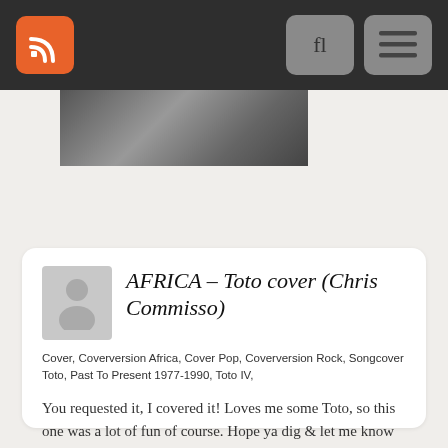Navigation bar with RSS feed icon, search button, and menu button
[Figure (photo): Partial black and white photo of people, cropped at top]
AFRICA – Toto cover (Chris Commisso)
Cover, Coverversion Africa, Cover Pop, Coverversion Rock, Songcover Toto, Past To Present 1977-1990, Toto IV,
You requested it, I covered it! Loves me some Toto, so this one was a lot of fun of course. Hope ya dig & let me know in the comments if there's any other 80s songs you'd like to hear me cover!…
0